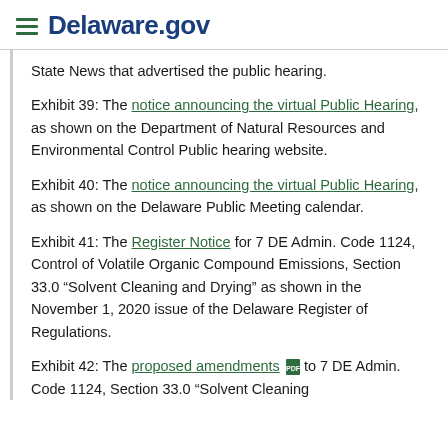Delaware.gov
State News that advertised the public hearing.
Exhibit 39: The notice announcing the virtual Public Hearing, as shown on the Department of Natural Resources and Environmental Control Public hearing website.
Exhibit 40: The notice announcing the virtual Public Hearing, as shown on the Delaware Public Meeting calendar.
Exhibit 41: The Register Notice for 7 DE Admin. Code 1124, Control of Volatile Organic Compound Emissions, Section 33.0 “Solvent Cleaning and Drying” as shown in the November 1, 2020 issue of the Delaware Register of Regulations.
Exhibit 42: The proposed amendments to 7 DE Admin. Code 1124, Section 33.0 “Solvent Cleaning